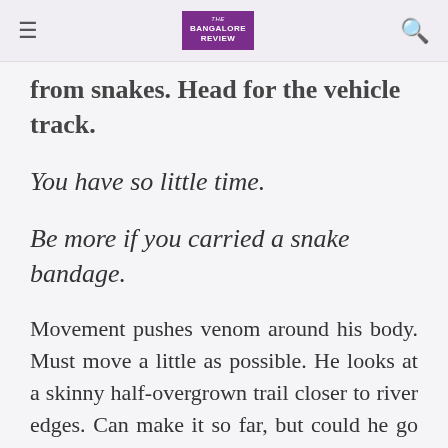The Bangalore Review
from snakes. Head for the vehicle track.
You have so little time.
Be more if you carried a snake bandage.
Movement pushes venom around his body. Must move a little as possible. He looks at a skinny half-overgrown trail closer to river edges. Can make it so far, but could he go further? Which is shorter? Back to a house, find a telephone. Should he risk it? No. He won't make it. Too far, the effort wiping out any chances. Get to a vehicle track. Do what you know you must. Before he leaves tree